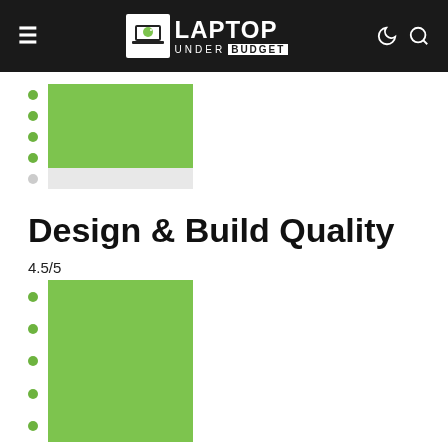LAPTOP UNDER BUDGET
[Figure (other): Partial star/dot rating bar showing approximately 4 out of 5 dots filled (green), with a vertical green bar graphic. The bottom dot is grey/empty.]
Design & Build Quality
4.5/5
[Figure (other): Star/dot rating bar showing 5 green filled dots with a full-height green vertical bar graphic, representing a 4.5/5 rating for Design & Build Quality.]
Display